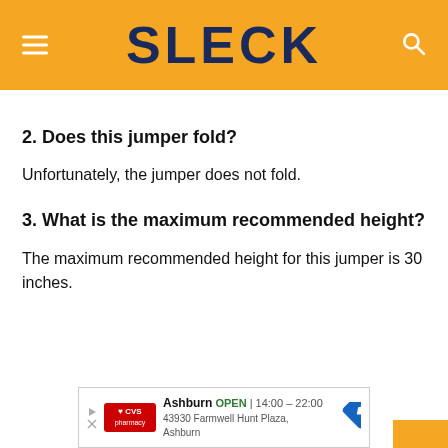SLECK
2. Does this jumper fold?
Unfortunately, the jumper does not fold.
3. What is the maximum recommended height?
The maximum recommended height for this jumper is 30 inches.
[Figure (other): CVS Pharmacy advertisement banner showing Ashburn location, open 14:00-22:00, address 43930 Farmwell Hunt Plaza, Ashburn]